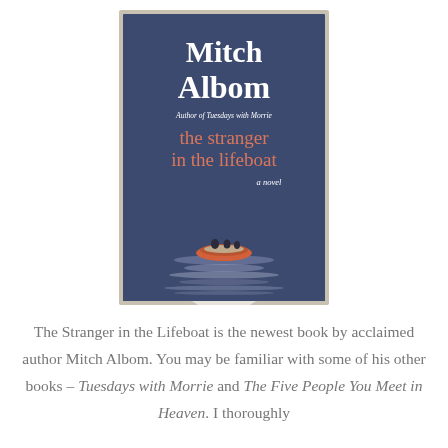[Figure (illustration): Book cover of 'The Stranger in the Lifeboat' by Mitch Albom. Dark blue/slate background. Large white serif text 'Mitch Albom' at top. Subtitle 'Author of Tuesdays with Morrie' in smaller text. Below that, salmon/coral colored text reading 'the stranger in the lifeboat'. Italicized 'a novel' to the right. Bottom portion shows a lifeboat scene: a large white semicircular moon/sun rising from calm water, a small orange inflatable raft with figures silhouetted inside, water reflections in lavender and white. Book has a light gray/cream border/frame around it.]
The Stranger in the Lifeboat is the newest book by acclaimed author Mitch Albom. You may be familiar with some of his other books – Tuesdays with Morrie and The Five People You Meet in Heaven. I thoroughly